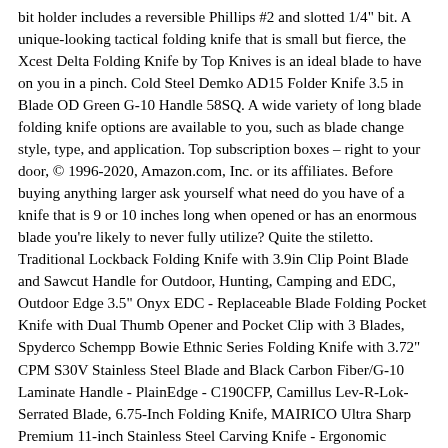bit holder includes a reversible Phillips #2 and slotted 1/4" bit. A unique-looking tactical folding knife that is small but fierce, the Xcest Delta Folding Knife by Top Knives is an ideal blade to have on you in a pinch. Cold Steel Demko AD15 Folder Knife 3.5 in Blade OD Green G-10 Handle 58SQ. A wide variety of long blade folding knife options are available to you, such as blade change style, type, and application. Top subscription boxes – right to your door, © 1996-2020, Amazon.com, Inc. or its affiliates. Before buying anything larger ask yourself what need do you have of a knife that is 9 or 10 inches long when opened or has an enormous blade you're likely to never fully utilize? Quite the stiletto. Traditional Lockback Folding Knife with 3.9in Clip Point Blade and Sawcut Handle for Outdoor, Hunting, Camping and EDC, Outdoor Edge 3.5" Onyx EDC - Replaceable Blade Folding Pocket Knife with Dual Thumb Opener and Pocket Clip with 3 Blades, Spyderco Schempp Bowie Ethnic Series Folding Knife with 3.72" CPM S30V Stainless Steel Blade and Black Carbon Fiber/G-10 Laminate Handle - PlainEdge - C190CFP, Camillus Lev-R-Lok-Serrated Blade, 6.75-Inch Folding Knife, MAIRICO Ultra Sharp Premium 11-inch Stainless Steel Carving Knife - Ergonomic Design - Best for Slicing Roasts, Meats, Fruits and Vegetables, Sharpal 101N 6-In-1 Pocket Knife Sharpener & Survival Tool, with Fire Starter & Whistle, Razor Blade Scraper, Double Edge Razor Scraper Remover Tool with 30 Pcs Razor Blades for Labels Stickers Decals Removal Auto Window Tint Vinyl Tool Application (2 Pack), 105 PCS Precision Carving Craft Hobby